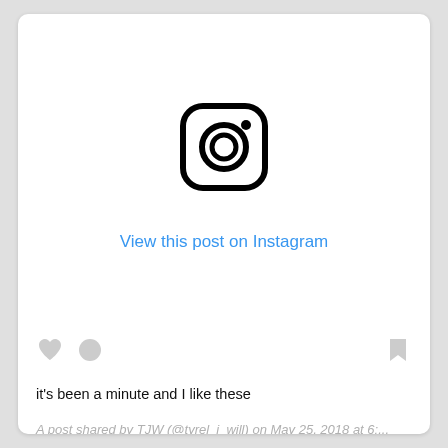[Figure (logo): Instagram camera logo icon — rounded square with circle and dot, black outline on white background]
View this post on Instagram
[Figure (other): Three social action icons: heart (like), circle (profile/comment), and bookmark/share on the right — all light gray]
it's been a minute and I like these
A post shared by TJW (@tyrel_j_will) on May 25, 2018 at 6:...